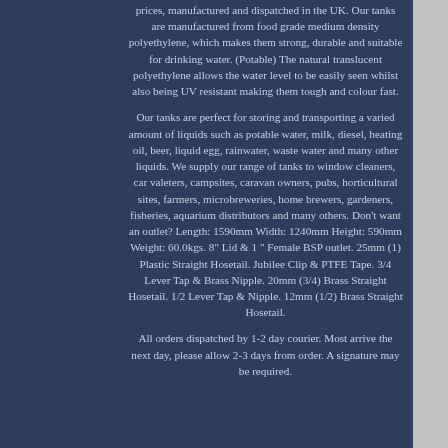prices, manufactured and dispatched in the UK. Our tanks are manufactured from food grade medium density polyethylene, which makes them strong, durable and suitable for drinking water. (Potable) The natural translucent polyethylene allows the water level to be easily seen whilst also being UV resistant making them tough and colour fast.
Our tanks are perfect for storing and transporting a varied amount of liquids such as potable water, milk, diesel, heating oil, beer, liquid egg, rainwater, waste water and many other liquids. We supply our range of tanks to window cleaners, car valeters, campsites, caravan owners, pubs, horticultural sites, farmers, microbreweries, home brewers, gardeners, fisheries, aquarium distributors and many others. Don't want an outlet? Length: 1590mm Width: 1240mm Height: 590mm Weight: 60.0kgs. 8" Lid & 1 " Female BSP outlet. 25mm (1) Plastic Straight Hosetail. Jubilee Clip & PTFE Tape. 3/4 Lever Tap & Brass Nipple. 20mm (3/4) Brass Straight Hosetail. 1/2 Lever Tap & Nipple. 12mm (1/2) Brass Straight Hosetail.
All orders dispatched by 1-2 day courier. Most arrive the next day, please allow 2-3 days from order. A signature may be required.